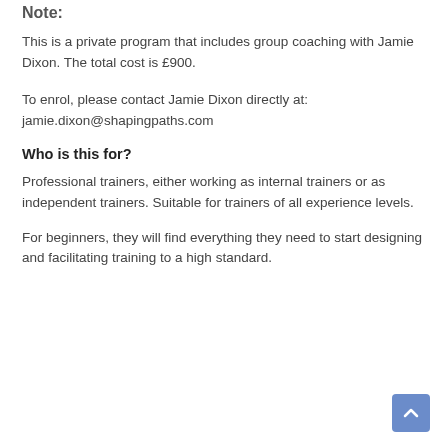Note:
This is a private program that includes group coaching with Jamie Dixon. The total cost is £900.
To enrol, please contact Jamie Dixon directly at: jamie.dixon@shapingpaths.com
Who is this for?
Professional trainers, either working as internal trainers or as independent trainers. Suitable for trainers of all experience levels.
For beginners, they will find everything they need to start designing and facilitating training to a high standard.